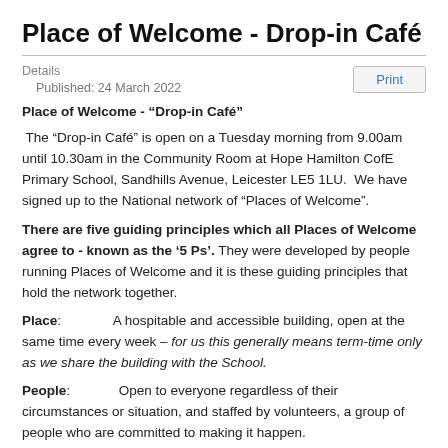Place of Welcome - Drop-in Café
Details
Published: 24 March 2022
Place of Welcome - “Drop-in Café”
The “Drop-in Café” is open on a Tuesday morning from 9.00am until 10.30am in the Community Room at Hope Hamilton CofE Primary School, Sandhills Avenue, Leicester LE5 1LU.  We have signed up to the National network of “Places of Welcome”.
There are five guiding principles which all Places of Welcome agree to - known as the ‘5 Ps’. They were developed by people running Places of Welcome and it is these guiding principles that hold the network together.
Place: A hospitable and accessible building, open at the same time every week – for us this generally means term-time only as we share the building with the School.
People: Open to everyone regardless of their circumstances or situation, and staffed by volunteers, a group of people who are committed to making it happen.
Presence: A place where people actively listen to one